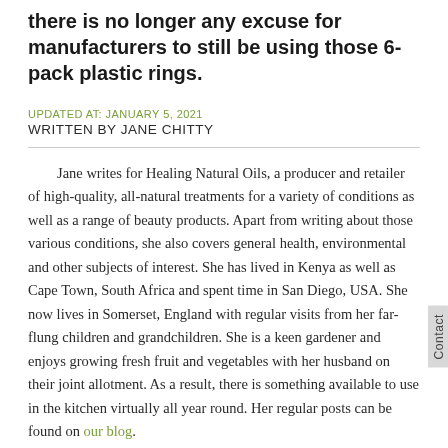there is no longer any excuse for manufacturers to still be using those 6-pack plastic rings.
UPDATED AT: JANUARY 5, 2021
WRITTEN BY JANE CHITTY
Jane writes for Healing Natural Oils, a producer and retailer of high-quality, all-natural treatments for a variety of conditions as well as a range of beauty products.  Apart from writing about those various conditions, she also covers general health, environmental and other subjects of interest.  She has lived in Kenya as well as Cape Town, South Africa and spent time in San Diego, USA.  She now lives in Somerset, England with regular visits from her far-flung children and grandchildren.  She is a keen gardener and enjoys growing fresh fruit and vegetables with her husband on their joint allotment.  As a result, there is something available to use in the kitchen virtually all year round.  Her regular posts can be found on our blog.